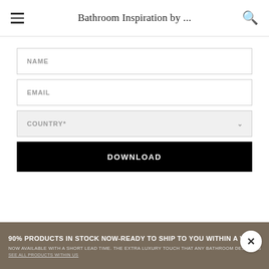Bathroom Inspiration by ...
NAME
EMAIL
COUNTRY*
DOWNLOAD
90% PRODUCTS IN STOCK NOW-READY TO SHIP TO YOU WITHIN A WEEK
NOW AVAILABLE WITH A SHORT LEAD TIME. THE EXTRA LUXURY TOUCH THAT ANY BATHROOM DESERVES
SEE ALL PRODUCTS WITHIN US